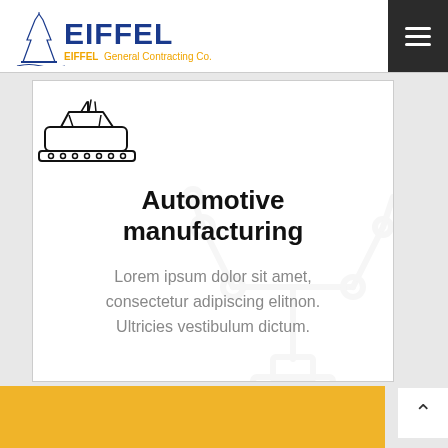[Figure (logo): Eiffel General Contracting Co. logo with Eiffel Tower graphic, blue EIFFEL text and orange tagline]
[Figure (illustration): Line drawing icon of a car being painted/sprayed on a conveyor platform]
Automotive manufacturing
Lorem ipsum dolor sit amet, consectetur adipiscing elitnon. Ultricies vestibulum dictum.
[Figure (illustration): Light gray watermark illustration of industrial robotic arm/manufacturing equipment]